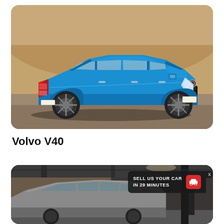[Figure (photo): Blue Volvo V40 hatchback parked in front of a sandy/rocky background, side profile view]
Volvo V40
[Figure (photo): Gray car in a showroom/garage setting with an overlay banner reading 'SELL US YOUR CAR IN 29 MINUTES' with a red car icon]